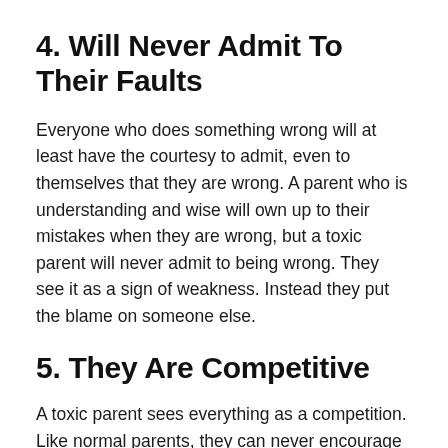4. Will Never Admit To Their Faults
Everyone who does something wrong will at least have the courtesy to admit, even to themselves that they are wrong. A parent who is understanding and wise will own up to their mistakes when they are wrong, but a toxic parent will never admit to being wrong. They see it as a sign of weakness. Instead they put the blame on someone else.
5. They Are Competitive
A toxic parent sees everything as a competition. Like normal parents, they can never encourage or cheer you up when you are doing something nice. Instead, they can...